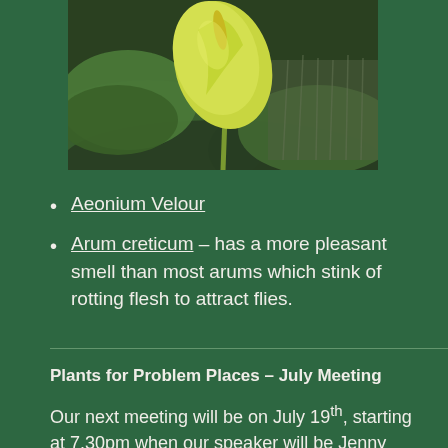[Figure (photo): Close-up photograph of an Arum creticum flower (yellow-green spathe) surrounded by green leaves and grass]
Aeonium Velour
Arum creticum – has a more pleasant smell than most arums which stink of rotting flesh to attract flies.
Plants for Problem Places – July Meeting
Our next meeting will be on July 19th, starting at 7.30pm when our speaker will be Jenny Matthews.